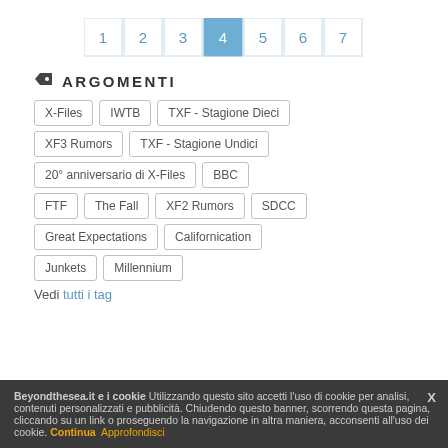[Figure (other): Pagination bar with pages 1-7, page 4 highlighted in blue]
ARGOMENTI
X-Files
IWTB
TXF - Stagione Dieci
XF3 Rumors
TXF - Stagione Undici
20° anniversario di X-Files
BBC
FTF
The Fall
XF2 Rumors
SDCC
Great Expectations
Californication
Junkets
Millennium
Vedi tutti i tag
Beyondthesea.it e i cookie Utilizzando questo sito accetti l'uso di cookie per analisi, contenuti personalizzati e pubblicità. Chiudendo questo banner, scorrendo questa pagina, cliccando su un link o proseguendo la navigazione in altra maniera, acconsenti all'uso dei cookie. Continua Approfondisci